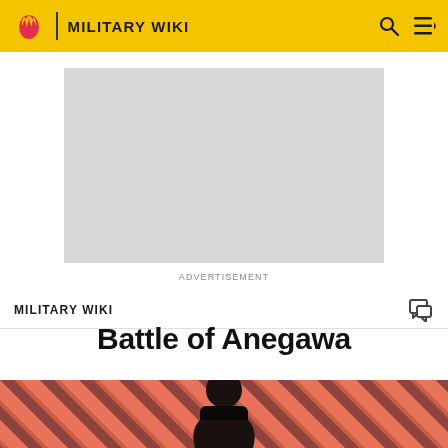MILITARY WIKI
[Figure (other): Advertisement placeholder — gray rectangle]
ADVERTISEMENT
MILITARY WIKI
Battle of Anegawa
[Figure (photo): Banner image with diagonal salmon/dark stripes background and a figure of a young man in dark clothing]